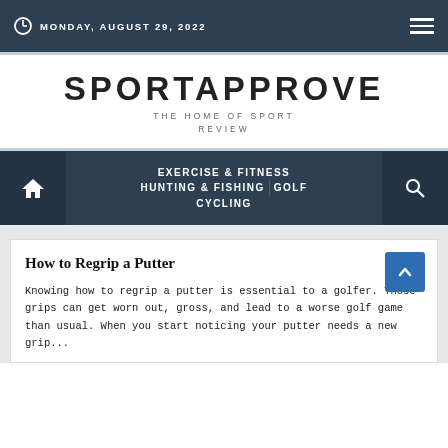MONDAY, AUGUST 29, 2022
SPORTAPPROVE
THE HOME OF SPORT REVIEW
EXERCISE & FITNESS | HUNTING & FISHING | GOLF | CYCLING
How to Regrip a Putter
Knowing how to regrip a putter is essential to a golfer. Those grips can get worn out, gross, and lead to a worse golf game than usual. When you start noticing your putter needs a new grip...